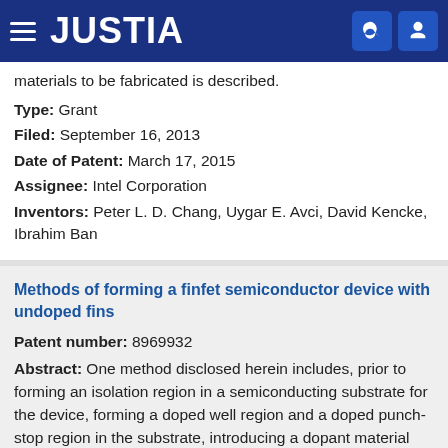JUSTIA
materials to be fabricated is described.
Type: Grant
Filed: September 16, 2013
Date of Patent: March 17, 2015
Assignee: Intel Corporation
Inventors: Peter L. D. Chang, Uygar E. Avci, David Kencke, Ibrahim Ban
Methods of forming a finfet semiconductor device with undoped fins
Patent number: 8969932
Abstract: One method disclosed herein includes, prior to forming an isolation region in a semiconducting substrate for the device, forming a doped well region and a doped punch-stop region in the substrate, introducing a dopant material that is adapted to retard diffusion of boron or phosphorous into the substrate to